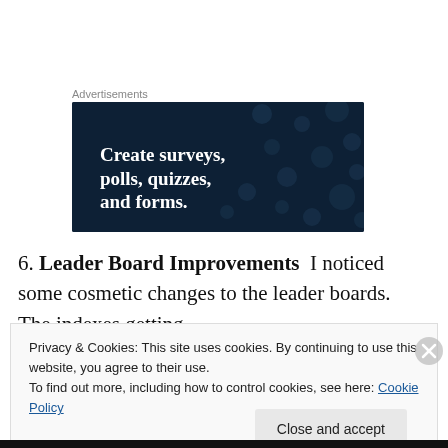Advertisements
[Figure (illustration): Dark navy blue advertisement banner with white bold text reading 'Create surveys, polls, quizzes, and forms.' with decorative dot pattern in background.]
6. Leader Board Improvements  I noticed some cosmetic changes to the leader boards.  The indexes getting
Privacy & Cookies: This site uses cookies. By continuing to use this website, you agree to their use.
To find out more, including how to control cookies, see here: Cookie Policy
Close and accept